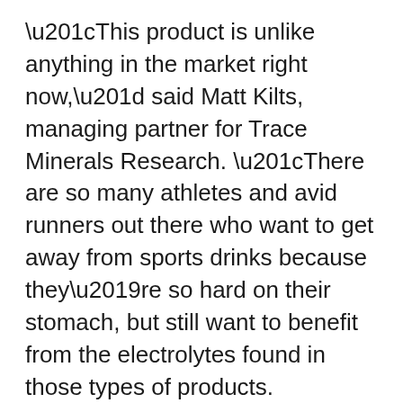“This product is unlike anything in the market right now,” said Matt Kilts, managing partner for Trace Minerals Research. “There are so many athletes and avid runners out there who want to get away from sports drinks because they’re so hard on their stomach, but still want to benefit from the electrolytes found in those types of products. ENDURE is the answer.”
ENDURE is a pure electrolyte complex that contains all major electrolytes such as sodium, potassium, magnesium and chloride. The difference between ENDURE and most sports powders and drinks is that it doesn’t have any sweeteners or flavorings and, therefore, contains